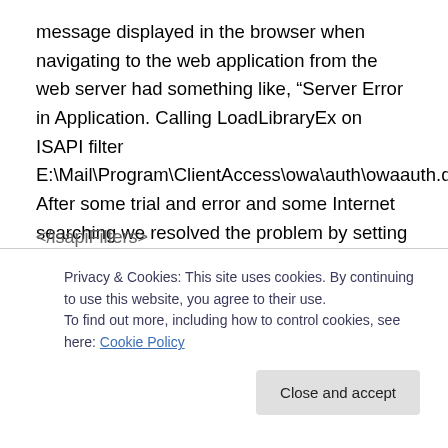message displayed in the browser when navigating to the web application from the web server had something like, "Server Error in Application. Calling LoadLibraryEx on ISAPI filter E:\Mail\Program\ClientAccess\owa\auth\owaauth.dll". After some trial and error and some Internet searching we resolved the problem by setting a precondition for the isapiFilter in the web.config of the Default Web Site.
<isapiFilters>
<filter ...
</isapiFilters>
Privacy & Cookies: This site uses cookies. By continuing to use this website, you agree to their use.
To find out more, including how to control cookies, see here: Cookie Policy